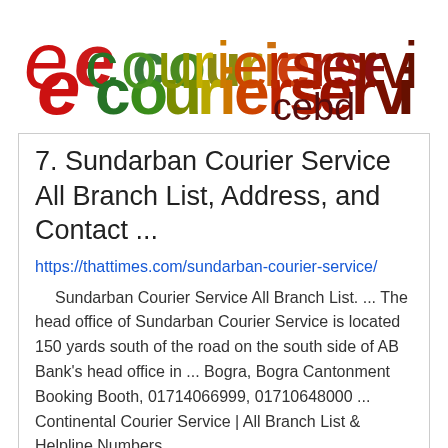[Figure (logo): ecourierservicebd logo with stylized red 'e' and multicolor text 'courierservicebd']
7. Sundarban Courier Service All Branch List, Address, and Contact ...
https://thattimes.com/sundarban-courier-service/
Sundarban Courier Service All Branch List. ... The head office of Sundarban Courier Service is located 150 yards south of the road on the south side of AB Bank's head office in ... Bogra, Bogra Cantonment Booking Booth, 01714066999, 01710648000 ... Continental Courier Service | All Branch List & Helpline Numbers.